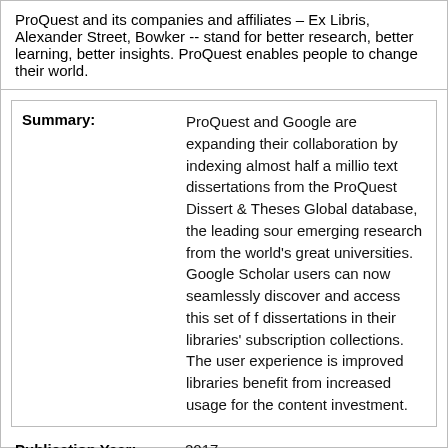ProQuest and its companies and affiliates – Ex Libris, Alexander Street, Bowker -- stand for better research, better learning, better insights. ProQuest enables people to change their world.
Summary: ProQuest and Google are expanding their collaboration by indexing almost half a million full text dissertations from the ProQuest Dissertations & Theses Global database, the leading source of emerging research from the world's great universities. Google Scholar users can now seamlessly discover and access this set of full-text dissertations in their libraries' subscription collections. The user experience is improved and libraries benefit from increased usage for their content investment.
Publication Year: 2017
Type of Material: Press Release
Language: English